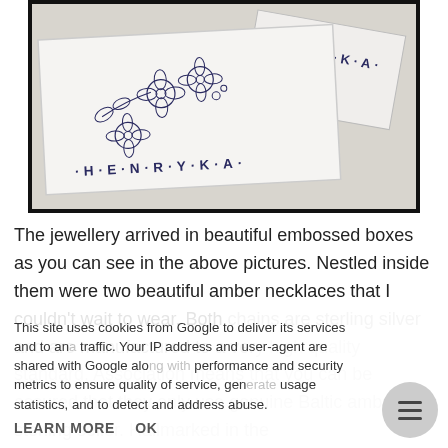[Figure (photo): Photo of two white jewelry gift boxes with floral embossed design and the brand name H·E·N·R·Y·K·A printed on them, placed on a light fabric surface.]
The jewellery arrived in beautiful embossed boxes as you can see in the above pictures. Nestled inside them were two beautiful amber necklaces that I couldn't wait to wear. Both chains are sterling silver and are manufactured to a very high quality standard. Association means that you can be assured that they only use genuine Baltic amber and sterling silver. Hallmarked in the UK.
This site uses cookies from Google to deliver its services and to analyse traffic. Your IP address and user-agent are shared with Google along with performance and security metrics to ensure quality of service, generate usage statistics, and to detect and address abuse.